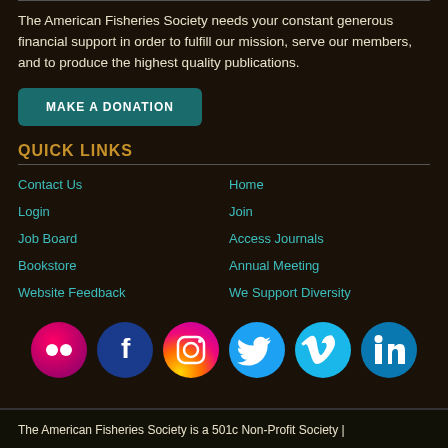The American Fisheries Society needs your constant generous financial support in order to fulfill our mission, serve our members, and to produce the highest quality publications.
MAKE A DONATION
QUICK LINKS
Contact Us
Home
Login
Join
Job Board
Access Journals
Bookstore
Annual Meeting
Website Feedback
We Support Diversity
[Figure (illustration): Row of six social media icons: Flickr (pink/red circle), Facebook (dark blue circle), Instagram (gradient orange/pink circle), Twitter (light blue circle), Vimeo (teal circle), LinkedIn (medium blue circle)]
The American Fisheries Society is a 501c Non-Profit Society |